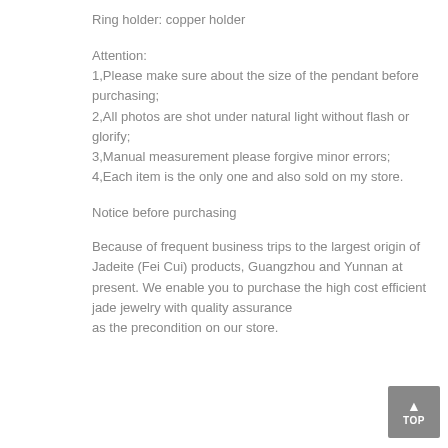Ring holder: copper holder
Attention:
1,Please make sure about the size of the pendant before purchasing;
2,All photos are shot under natural light without flash or glorify;
3,Manual measurement please forgive minor errors;
4,Each item is the only one and also sold on my store.
Notice before purchasing
Because of frequent business trips to the largest origin of Jadeite (Fei Cui) products, Guangzhou and Yunnan at present. We enable you to purchase the high cost efficient jade jewelry with quality assurance as the precondition on our store.